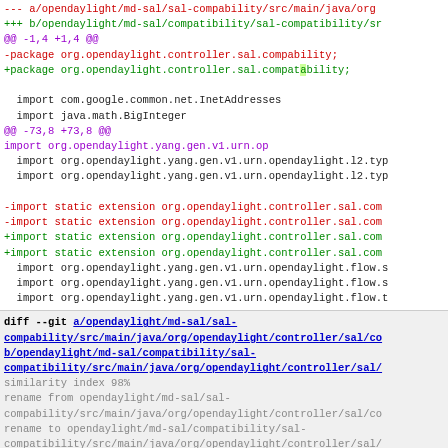[Figure (screenshot): Git diff output showing code changes in a Java file. Shows file path headers, hunk headers with purple @@ markers, removed lines in red, added lines in green, context lines in black, and a new diff block at bottom with similarity index and rename information.]